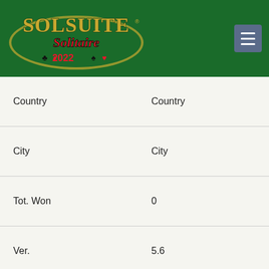[Figure (logo): SolSuite Solitaire 2022 logo on green background with menu button]
| Field | Value |
| --- | --- |
| Country | Country |
| City | City |
| Tot. Won | 0 |
| Ver. | 5.6 |
| Date | 10 May 20 |
| N. | 08 |
| Name | Player 018 |